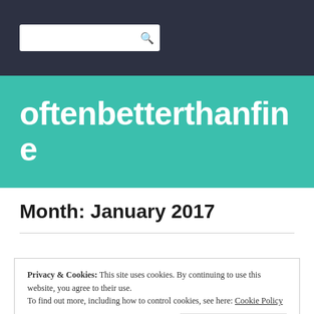[Figure (screenshot): Search box in dark navigation bar]
oftenbetterthanfine
Month: January 2017
Privacy & Cookies: This site uses cookies. By continuing to use this website, you agree to their use.
To find out more, including how to control cookies, see here: Cookie Policy
Close and accept